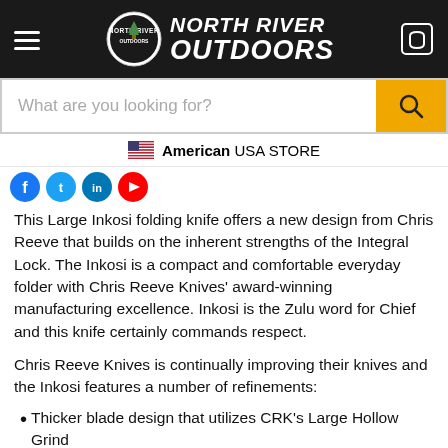[Figure (logo): North River Outdoors logo with circular badge and brand name text on dark background header with hamburger menu and cart icon]
[Figure (screenshot): Search bar with placeholder text 'What are you looking for?' and orange search button]
American  USA STORE
[Figure (photo): Social media icon circles (blue, light blue, blue, red) partially visible]
This Large Inkosi folding knife offers a new design from Chris Reeve that builds on the inherent strengths of the Integral Lock. The Inkosi is a compact and comfortable everyday folder with Chris Reeve Knives’ award-winning manufacturing excellence. Inkosi is the Zulu word for Chief and this knife certainly commands respect.
Chris Reeve Knives is continually improving their knives and the Inkosi features a number of refinements:
Thicker blade design that utilizes CRK’s Large Hollow Grind